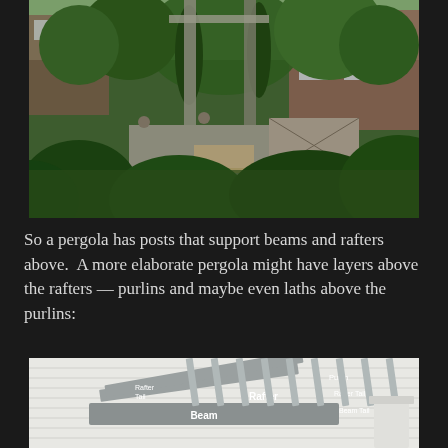[Figure (photo): Outdoor pergola garden scene with green lush plants, wooden fence panels with X-pattern, picnic table visible in background, brick house with trees]
So a pergola has posts that support beams and rafters above.  A more elaborate pergola might have layers above the rafters — purlins and maybe even laths above the purlins:
[Figure (photo): Close-up of white pergola structure from below, showing labeled parts: Beam, Rafter, Purlin, Beam Tail, Rafter Tail — white wood structure against white house siding]